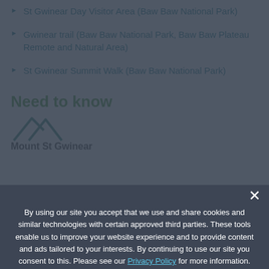St Gwinear Day Visitor Area (Baw Baw National Park)
Gwinear trail (Baw Baw National Park, Baw Baw Plateau Remote and Natural Area)
St Gwinear Summit Walk (Baw Baw National Park)
Need to know
[Figure (illustration): Mountain/terrain icon (two overlapping mountain peaks outline in teal/green)]
Mount St Gwinear
By using our site you accept that we use and share cookies and similar technologies with certain approved third parties. These tools enable us to improve your website experience and to provide content and ads tailored to your interests. By continuing to use our site you consent to this. Please see our [Privacy Policy] for more information.
Confirm